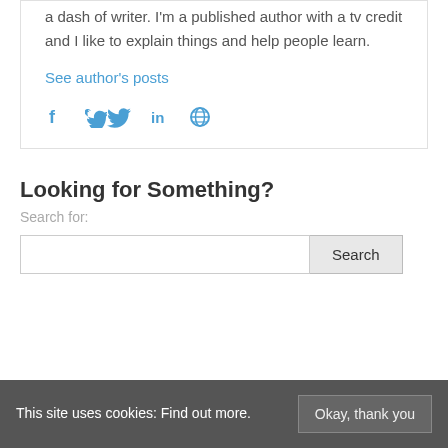a dash of writer. I'm a published author with a tv credit and I like to explain things and help people learn.
See author's posts
[Figure (infographic): Social media icons: Facebook (f), Twitter (bird), LinkedIn (in), Globe/website]
Looking for Something?
Search for:
Search
This site uses cookies: Find out more.
Okay, thank you